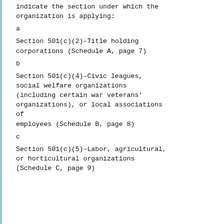indicate the section under which the organization is applying:
a

Section 501(c)(2)–Title holding corporations (Schedule A, page 7)
b

Section 501(c)(4)–Civic leagues, social welfare organizations (including certain war veterans' organizations), or local associations of employees (Schedule B, page 8)
c

Section 501(c)(5)–Labor, agricultural, or horticultural organizations (Schedule C, page 9)